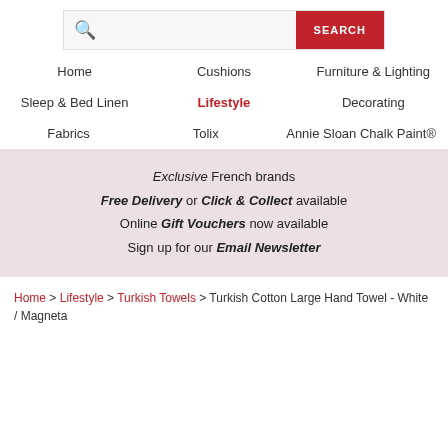[Figure (screenshot): Search bar with magnifying glass icon and red SEARCH button]
Home | Cushions | Furniture & Lighting | Sleep & Bed Linen | Lifestyle | Decorating | Fabrics | Tolix | Annie Sloan Chalk Paint®
Exclusive French brands
Free Delivery or Click & Collect available
Online Gift Vouchers now available
Sign up for our Email Newsletter
Home > Lifestyle > Turkish Towels > Turkish Cotton Large Hand Towel - White / Magneta